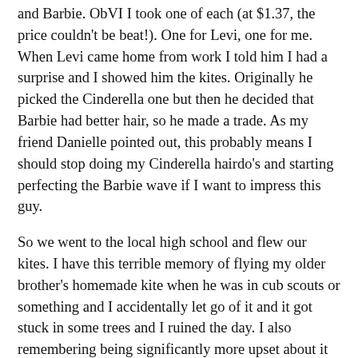and Barbie. ObVI I took one of each (at $1.37, the price couldn't be beat!). One for Levi, one for me. When Levi came home from work I told him I had a surprise and I showed him the kites. Originally he picked the Cinderella one but then he decided that Barbie had better hair, so he made a trade. As my friend Danielle pointed out, this probably means I should stop doing my Cinderella hairdo's and starting perfecting the Barbie wave if I want to impress this guy.
So we went to the local high school and flew our kites. I have this terrible memory of flying my older brother's homemade kite when he was in cub scouts or something and I accidentally let go of it and it got stuck in some trees and I ruined the day. I also remembering being significantly more upset about it than anyone else was (including my brother), but still. Traumatizing.
But out on the open field where the wind was a-blowin' and Cinderella's face was a-smilin', we had a grand old time. Seriously, it was so fun! There was plenty of wind to keep the kites afloat and the activity easily entertained us for an hour. Levi found some giant tower to climb on (he said it was